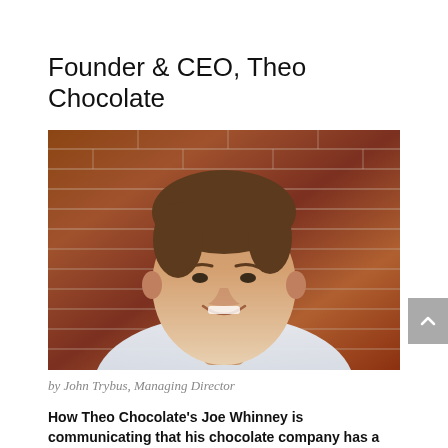Founder & CEO, Theo Chocolate
[Figure (photo): Portrait of Joe Whinney, smiling man in white shirt against a brick wall background]
by John Trybus, Managing Director
How Theo Chocolate's Joe Whinney is communicating that his chocolate company has a